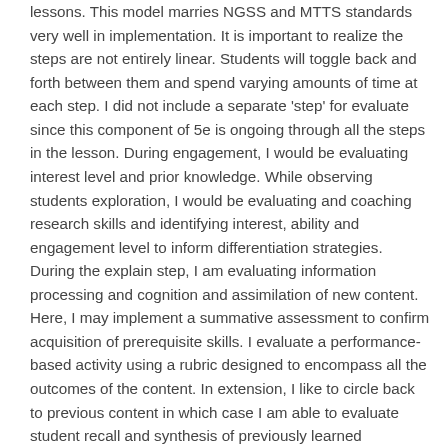lessons. This model marries NGSS and MTTS standards very well in implementation. It is important to realize the steps are not entirely linear. Students will toggle back and forth between them and spend varying amounts of time at each step. I did not include a separate 'step' for evaluate since this component of 5e is ongoing through all the steps in the lesson. During engagement, I would be evaluating interest level and prior knowledge. While observing students exploration, I would be evaluating and coaching research skills and identifying interest, ability and engagement level to inform differentiation strategies. During the explain step, I am evaluating information processing and cognition and assimilation of new content. Here, I may implement a summative assessment to confirm acquisition of prerequisite skills. I evaluate a performance-based activity using a rubric designed to encompass all the outcomes of the content. In extension, I like to circle back to previous content in which case I am able to evaluate student recall and synthesis of previously learned concepts. Finally, while critical thinking is a